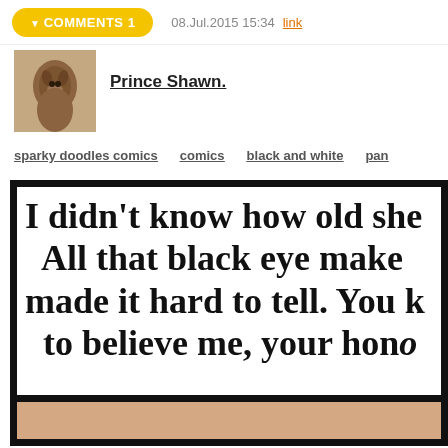▼ COMMENTS 1   08.Jul.2015 15:34  link
[Figure (photo): Avatar photo of a dog (terrier breed), square thumbnail]
Prince Shawn.
sparky doodles comics   comics   black and white   pan...
[Figure (illustration): Comic panel with text: I didn't know how old she... All that black eye make... made it hard to tell. You k... to believe me, your hono... with a skin-colored panel below]